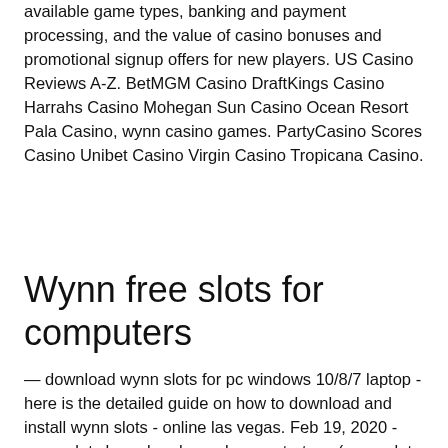available game types, banking and payment processing, and the value of casino bonuses and promotional signup offers for new players. US Casino Reviews A-Z. BetMGM Casino DraftKings Casino Harrahs Casino Mohegan Sun Casino Ocean Resort Pala Casino, wynn casino games. PartyCasino Scores Casino Unibet Casino Virgin Casino Tropicana Casino.
Wynn free slots for computers
— download wynn slots for pc windows 10/8/7 laptop - here is the detailed guide on how to download and install wynn slots - online las vegas. Feb 19, 2020 - wynn slots hong bao hyper bonus strategy (wynn slots hbhb strategy)wynn casino slots